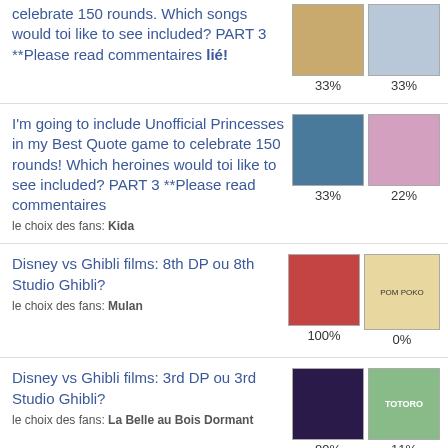celebrate 150 rounds. Which songs would toi like to see included? PART 3 **Please read commentaires lié!
I'm going to include Unofficial Princesses in my Best Quote game to celebrate 150 rounds! Which heroines would toi like to see included? PART 3 **Please read commentaires
le choix des fans: Kida
Disney vs Ghibli films: 8th DP ou 8th Studio Ghibli?
le choix des fans: Mulan
Disney vs Ghibli films: 3rd DP ou 3rd Studio Ghibli?
le choix des fans: La Belle au Bois Dormant
Disney vs Ghibli films: ...